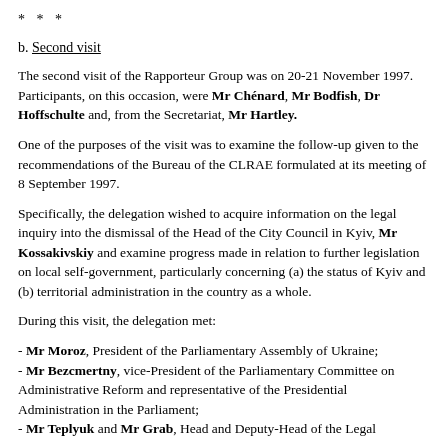* * *
b. Second visit
The second visit of the Rapporteur Group was on 20-21 November 1997. Participants, on this occasion, were Mr Chénard, Mr Bodfish, Dr Hoffschulte and, from the Secretariat, Mr Hartley.
One of the purposes of the visit was to examine the follow-up given to the recommendations of the Bureau of the CLRAE formulated at its meeting of 8 September 1997.
Specifically, the delegation wished to acquire information on the legal inquiry into the dismissal of the Head of the City Council in Kyiv, Mr Kossakivskiy and examine progress made in relation to further legislation on local self-government, particularly concerning (a) the status of Kyiv and (b) territorial administration in the country as a whole.
During this visit, the delegation met:
- Mr Moroz, President of the Parliamentary Assembly of Ukraine;
- Mr Bezcmertny, vice-President of the Parliamentary Committee on Administrative Reform and representative of the Presidential Administration in the Parliament;
- Mr Teplyuk and Mr Grab, Head and Deputy-Head of the Legal